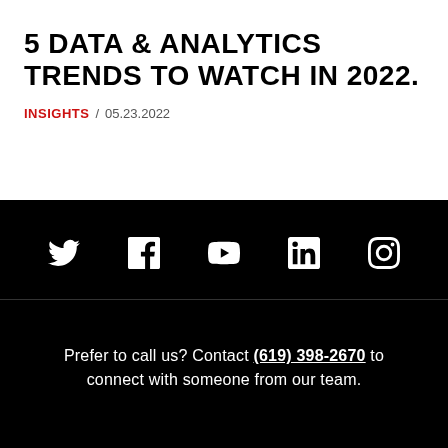5 DATA & ANALYTICS TRENDS TO WATCH IN 2022.
INSIGHTS / 05.23.2022
[Figure (infographic): Social media icons row on black background: Twitter, Facebook, YouTube, LinkedIn, Instagram]
Prefer to call us? Contact (619) 398-2670 to connect with someone from our team.